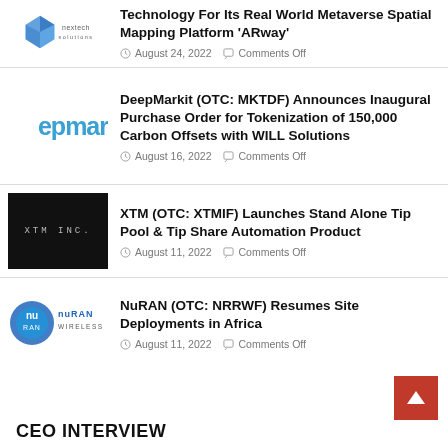[Figure (logo): NexTech Solutions logo - blue geometric gem shape with 'nextech solutions' text below]
Technology For Its Real World Metaverse Spatial Mapping Platform 'ARway'
August 24, 2022  Comments Off
[Figure (logo): DeepMarkit logo - 'epmar' in bold blue letters]
DeepMarkit (OTC: MKTDF) Announces Inaugural Purchase Order for Tokenization of 150,000 Carbon Offsets with WILL Solutions
August 16, 2022  Comments Off
[Figure (logo): XTM INC. logo on black background]
XTM (OTC: XTMIF) Launches Stand Alone Tip Pool & Tip Share Automation Product
August 11, 2022  Comments Off
[Figure (logo): NuRAN Wireless logo - blue circular icon with 'nuRAN WIRELESS' text]
NuRAN (OTC: NRRWF) Resumes Site Deployments in Africa
August 11, 2022  Comments Off
CEO INTERVIEW